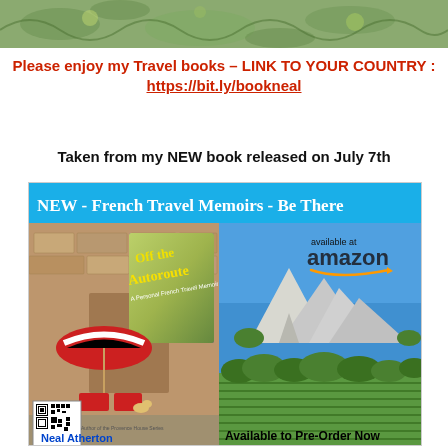[Figure (photo): Top decorative banner with green leaf/floral pattern on olive green background]
Please enjoy my Travel books – LINK TO YOUR COUNTRY : https://bit.ly/bookneal
Taken from my NEW book released on July 7th
[Figure (illustration): Book advertisement banner: 'NEW - French Travel Memoirs - Be There' on blue background. Left side shows book cover 'Off the Autoroute – A Personal French Travel Memoir' over a photo of a Provençal courtyard with striped umbrella and red chairs, QR code bottom left, author name 'Neal Atherton' bottom. Right side shows a mountain and vineyard landscape photo with 'available at amazon' text and Amazon smile logo, 'Available to Pre-Order Now' at bottom.]